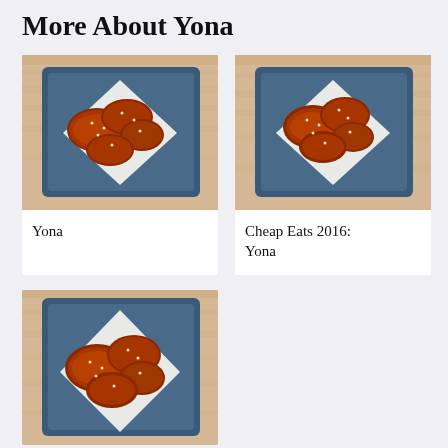More About Yona
[Figure (photo): Overhead photo of Korean fried chicken wings on a blue plate with white paper, on a wooden surface]
Yona
[Figure (photo): Overhead photo of Korean fried chicken wings on a blue plate with white paper, on a wooden surface]
Cheap Eats 2016: Yona
[Figure (photo): Overhead photo of Korean fried chicken wings on a blue plate with white paper, on a wooden surface (partially visible)]